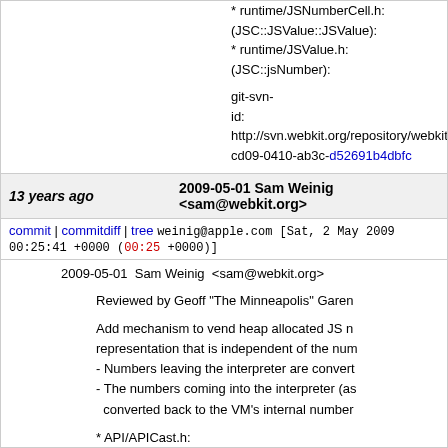* runtime/JSNumberCell.h:
(JSC::JSValue::JSValue):
* runtime/JSValue.h:
(JSC::jsNumber):
git-svn-id: http://svn.webkit.org/repository/webkit/trunk@4 cd09-0410-ab3c-d52691b4dbfc
13 years ago   2009-05-01 Sam Weinig <sam@webkit.org>
commit | commitdiff | tree   weinig@apple.com [Sat, 2 May 2009 00:25:41 +0000 (00:25 +0000)]
2009-05-01  Sam Weinig  <sam@webkit.org>
Reviewed by Geoff "The Minneapolis" Garen
Add mechanism to vend heap allocated JS number representation that is independent of the number - Numbers leaving the interpreter are converted - The numbers coming into the interpreter (as converted back to the VM's internal number
* API/APICast.h:
(toJS):
(toRef):
* API/JSBase.cpp:
(JSEvaluateScript):
(JSCheckScriptSyntax):